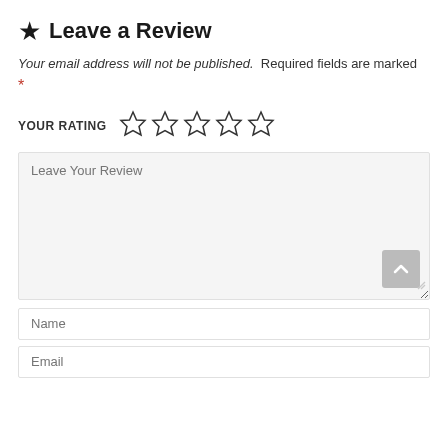★ Leave a Review
Your email address will not be published. Required fields are marked *
YOUR RATING ☆☆☆☆☆
Leave Your Review
Name
Email